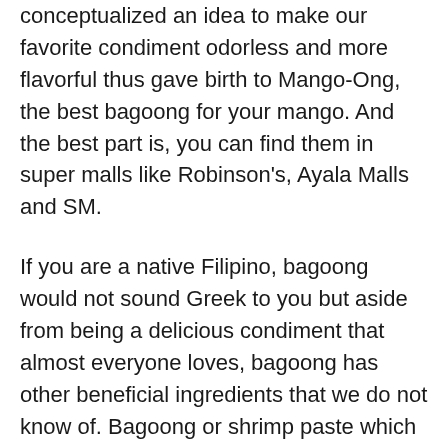conceptualized an idea to make our favorite condiment odorless and more flavorful thus gave birth to Mango-Ong, the best bagoong for your mango. And the best part is, you can find them in super malls like Robinson's, Ayala Malls and SM.
If you are a native Filipino, bagoong would not sound Greek to you but aside from being a delicious condiment that almost everyone loves, bagoong has other beneficial ingredients that we do not know of. Bagoong or shrimp paste which is also known as bagoong alamang is scientifically made up of Acetes species. This species contain high amounts of essential fatty acid like DHA which is needed by not only humans but also for animals too. DHA